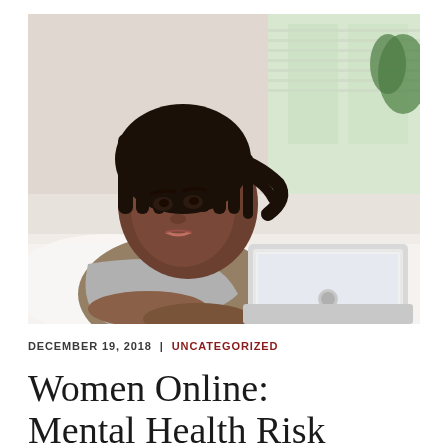[Figure (photo): A young Black woman with long braided hair lying on a bed, looking intently at a laptop screen. She is wearing a grey shirt. The background shows white bedding and a window with light coming through.]
DECEMBER 19, 2018  |  UNCATEGORIZED
Women Online: Mental Health Risk